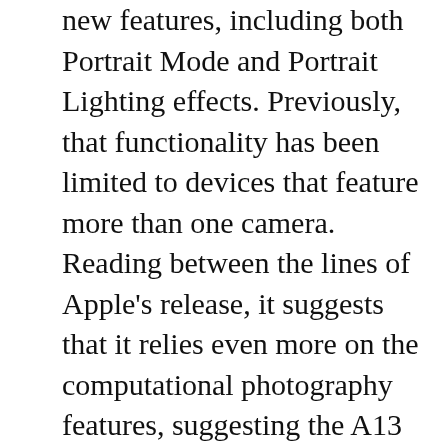new features, including both Portrait Mode and Portrait Lighting effects. Previously, that functionality has been limited to devices that feature more than one camera. Reading between the lines of Apple's release, it suggests that it relies even more on the computational photography features, suggesting the A13 chip is doing a lot of heavy lifting here.
The iPhone SE also has extended dynamic range for video up to 30 fps, a feature not offered by the iPhone 8